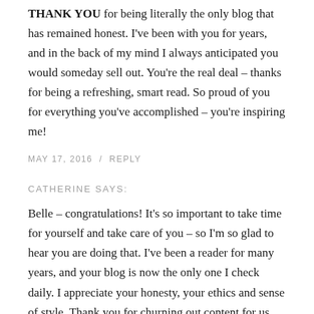THANK YOU for being literally the only blog that has remained honest. I've been with you for years, and in the back of my mind I always anticipated you would someday sell out. You're the real deal – thanks for being a refreshing, smart read. So proud of you for everything you've accomplished – you're inspiring me!
MAY 17, 2016  /  REPLY
CATHERINE SAYS:
Belle – congratulations! It's so important to take time for yourself and take care of you – so I'm so glad to hear you are doing that. I've been a reader for many years, and your blog is now the only one I check daily. I appreciate your honesty, your ethics and sense of style. Thank you for churning out content for us even when you were in law school – I can't imagine it being easy to manage.